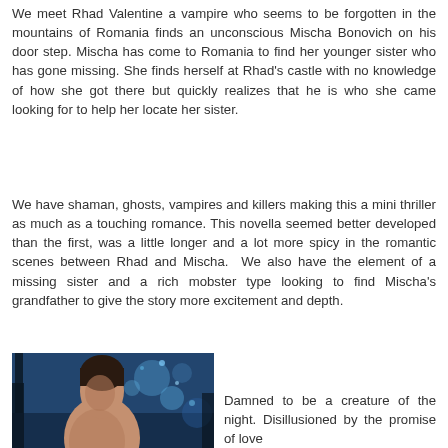We meet Rhad Valentine a vampire who seems to be forgotten in the mountains of Romania finds an unconscious Mischa Bonovich on his door step. Mischa has come to Romania to find her younger sister who has gone missing. She finds herself at Rhad's castle with no knowledge of how she got there but quickly realizes that he is who she came looking for to help her locate her sister.
We have shaman, ghosts, vampires and killers making this a mini thriller as much as a touching romance. This novella seemed better developed than the first, was a little longer and a lot more spicy in the romantic scenes between Rhad and Mischa. We also have the element of a missing sister and a rich mobster type looking to find Mischa's grandfather to give the story more excitement and depth.
[Figure (photo): Book cover showing a shirtless man against a blue forest/night background]
Damned to be a creature of the night. Disillusioned by the promise of love